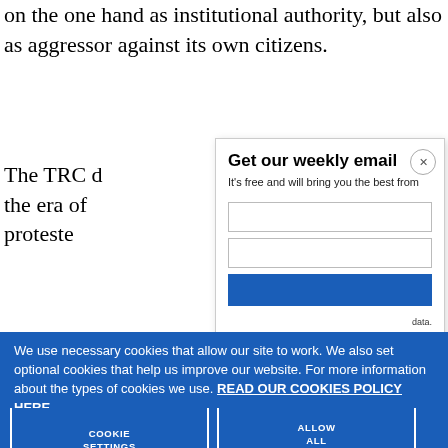on the one hand as institutional authority, but also as aggressor against its own citizens.
The TRC d... the era of... proteste...
Get our weekly email
It's free and will bring you the best from
We use necessary cookies that allow our site to work. We also set optional cookies that help us improve our website. For more information about the types of cookies we use. READ OUR COOKIES POLICY HERE
COOKIE SETTINGS
ALLOW ALL COOKIES
data.
bull...